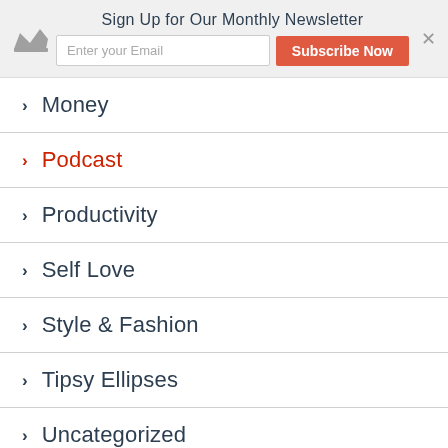Sign Up for Our Monthly Newsletter | Enter your Email | Subscribe Now
Money
Podcast
Productivity
Self Love
Style & Fashion
Tipsy Ellipses
Uncategorized
Values